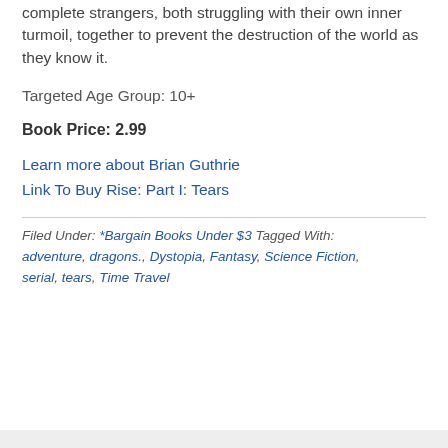complete strangers, both struggling with their own inner turmoil, together to prevent the destruction of the world as they know it.
Targeted Age Group: 10+
Book Price: 2.99
Learn more about Brian Guthrie
Link To Buy Rise: Part I: Tears
Filed Under: *Bargain Books Under $3 Tagged With: adventure, dragons., Dystopia, Fantasy, Science Fiction, serial, tears, Time Travel